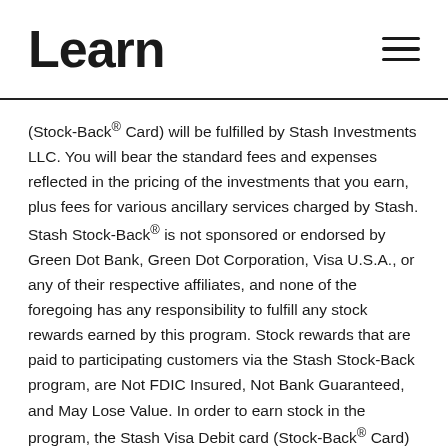Learn
(Stock-Back® Card) will be fulfilled by Stash Investments LLC. You will bear the standard fees and expenses reflected in the pricing of the investments that you earn, plus fees for various ancillary services charged by Stash. Stash Stock-Back® is not sponsored or endorsed by Green Dot Bank, Green Dot Corporation, Visa U.S.A., or any of their respective affiliates, and none of the foregoing has any responsibility to fulfill any stock rewards earned by this program. Stock rewards that are paid to participating customers via the Stash Stock-Back program, are Not FDIC Insured, Not Bank Guaranteed, and May Lose Value. In order to earn stock in the program, the Stash Visa Debit card (Stock-Back® Card) must be used to make a qualifying purchase. What doesn't count: Cash withdrawals, money orders, prepaid cards, and P2P payment. If publicly-traded stock of the merchant (or a subsidiary thereof, if applicable) is not available or otherwise capable of being fulfilled for any reason, the stock reward arising from a qualifying transaction will be in an ETF or a publicly traded company available on the Stash Platform. Stash reserves the right to amend this program and the terms and conditions thereof and/or cancel this program at any time, for